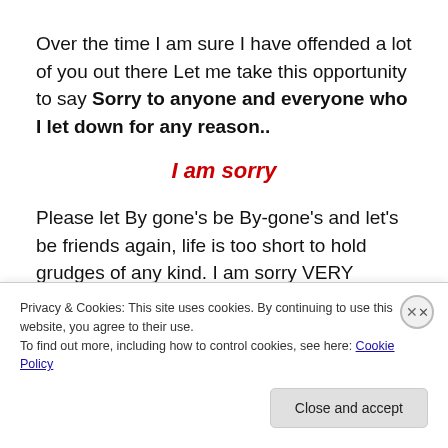Over the time I am sure I have offended a lot of you out there Let me take this opportunity to say Sorry to anyone and everyone who I let down for any reason..
I am sorry
Please let By gone's be By-gone's and let's be friends again, life is too short to hold grudges of any kind. I am sorry VERY SORRY from the bottom of my heart. I am
Privacy & Cookies: This site uses cookies. By continuing to use this website, you agree to their use.
To find out more, including how to control cookies, see here: Cookie Policy
Close and accept